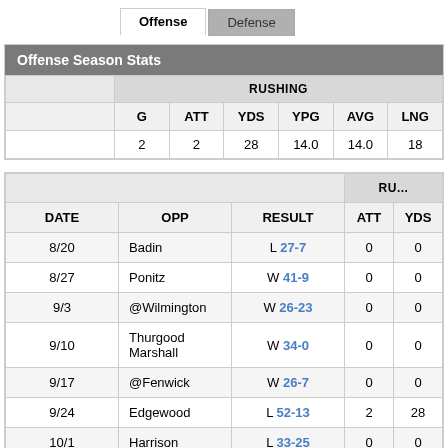|  | Offense | Defense |
| --- | --- | --- |
Offense Season Stats
| G | ATT | YDS | YPG | AVG | LNG | T... |
| --- | --- | --- | --- | --- | --- | --- |
| 2 | 2 | 28 | 14.0 | 14.0 | 18 |  |
| DATE | OPP | RESULT | ATT | YDS |
| --- | --- | --- | --- | --- |
| 8/20 | Badin | L 27-7 | 0 | 0 |
| 8/27 | Ponitz | W 41-9 | 0 | 0 |
| 9/3 | @Wilmington | W 26-23 | 0 | 0 |
| 9/10 | Thurgood Marshall | W 34-0 | 0 | 0 |
| 9/17 | @Fenwick | W 26-7 | 0 | 0 |
| 9/24 | Edgewood | L 52-13 | 2 | 28 |
| 10/1 | Harrison | L 33-25 | 0 | 0 |